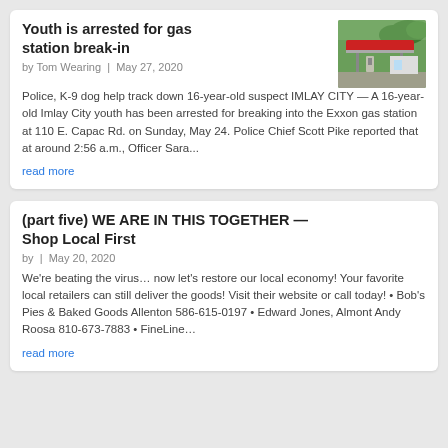[Figure (photo): Photo of a gas station with red canopy and green trees in background]
Youth is arrested for gas station break-in
by Tom Wearing | May 27, 2020
Police, K-9 dog help track down 16-year-old suspect IMLAY CITY — A 16-year-old Imlay City youth has been arrested for breaking into the Exxon gas station at 110 E. Capac Rd. on Sunday, May 24. Police Chief Scott Pike reported that at around 2:56 a.m., Officer Sara...
read more
(part five) WE ARE IN THIS TOGETHER — Shop Local First
by  | May 20, 2020
We're beating the virus… now let's restore our local economy! Your favorite local retailers can still deliver the goods! Visit their website or call today! • Bob's Pies & Baked Goods Allenton 586-615-0197 • Edward Jones, Almont Andy Roosa 810-673-7883 • FineLine…
read more